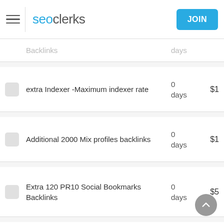[Figure (logo): seoclerks logo with hamburger menu and JOIN button]
|  | Description | Days | Price |
| --- | --- | --- | --- |
|  | Backlinks | days |  |
| ☐ | extra Indexer -Maximum indexer rate | 0 days | $1 |
| ☐ | Additional 2000 Mix profiles backlinks | 0 days | $1 |
| ☐ | Extra 120 PR10 Social Bookmarks Backlinks | 0 days | $5 |
| ☐ | Extra 3000 Blog/image/other comments backlinks | 0 days | $3 |